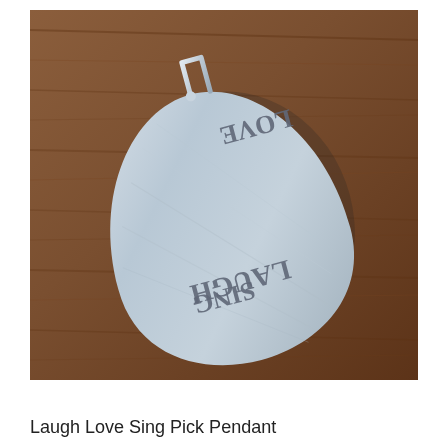[Figure (photo): Close-up photo of a silver guitar pick pendant with the words LAUGH, LOVE, and SING stamped onto its surface, with a silver wire clasp at the top, resting on a wooden surface.]
Laugh Love Sing Pick Pendant